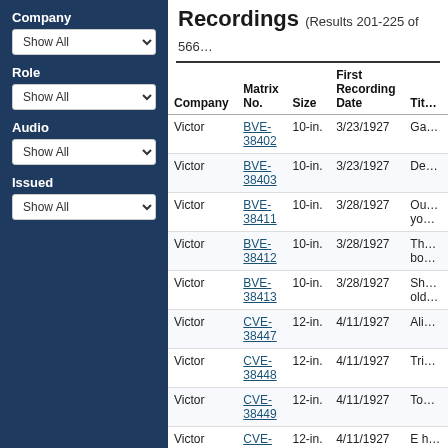Company
Show All (dropdown)
Role
Show All (dropdown)
Audio
Show All (dropdown)
Issued
Show All (dropdown)
Recordings (Results 201-225 of 566…)
| Company | Matrix No. | Size | First Recording Date | Tit… |
| --- | --- | --- | --- | --- |
| Victor | BVE-38402 | 10-in. | 3/23/1927 | Ga… |
| Victor | BVE-38403 | 10-in. | 3/23/1927 | De… |
| Victor | BVE-38411 | 10-in. | 3/28/1927 | Ou… you… |
| Victor | BVE-38412 | 10-in. | 3/28/1927 | Th… bo… |
| Victor | BVE-38413 | 10-in. | 3/28/1927 | Sh… old… |
| Victor | CVE-38447 | 12-in. | 4/11/1927 | Ali… |
| Victor | CVE-38448 | 12-in. | 4/11/1927 | Tri… |
| Victor | CVE-38449 | 12-in. | 4/11/1927 | To… |
| Victor | CVE-38450 | 12-in. | 4/11/1927 | E h… |
| Victor | CVE-3… | 12-in. | 4/11/1927 | Pa… |